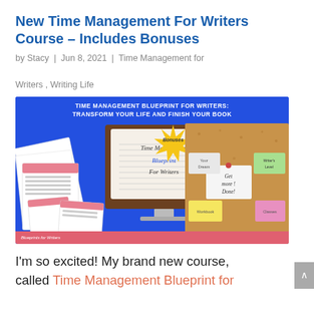New Time Management For Writers Course – Includes Bonuses
by Stacy | Jun 8, 2021 | Time Management for Writers, Writing Life
[Figure (illustration): Course promotional image with blue background. Header text: 'TIME MANAGEMENT BLUEPRINT FOR WRITERS: TRANSFORM YOUR LIFE AND FINISH YOUR BOOK'. Shows a computer monitor displaying 'Time Management Blueprint For Writers', papers/worksheets scattered on the left, a cork board with sticky notes on the right, a yellow starburst with 'Bonuses', and a pink footer strip with 'Blueprints for Writers'.]
I'm so excited! My brand new course, called Time Management Blueprint for